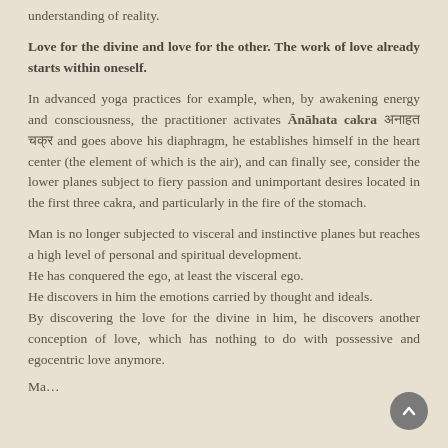understanding of reality.
Love for the divine and love for the other. The work of love already starts within oneself.
In advanced yoga practices for example, when, by awakening energy and consciousness, the practitioner activates Ānāhata cakra अनाहत चक्र and goes above his diaphragm, he establishes himself in the heart center (the element of which is the air), and can finally see, consider the lower planes subject to fiery passion and unimportant desires located in the first three cakra, and particularly in the fire of the stomach.
Man is no longer subjected to visceral and instinctive planes but reaches a high level of personal and spiritual development.
He has conquered the ego, at least the visceral ego.
He discovers in him the emotions carried by thought and ideals.
By discovering the love for the divine in him, he discovers another conception of love, which has nothing to do with possessive and egocentric love anymore.
Ma…